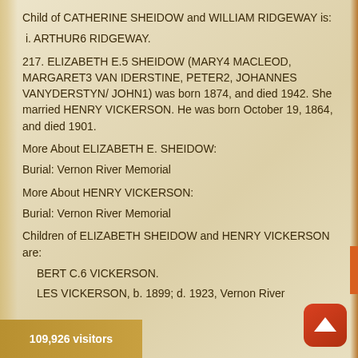Child of CATHERINE SHEIDOW and WILLIAM RIDGEWAY is:
i. ARTHUR6 RIDGEWAY.
217. ELIZABETH E.5 SHEIDOW (MARY4 MACLEOD, MARGARET3 VAN IDERSTINE, PETER2, JOHANNES VANYDERSTYN/ JOHN1) was born 1874, and died 1942. She married HENRY VICKERSON. He was born October 19, 1864, and died 1901.
More About ELIZABETH E. SHEIDOW:
Burial: Vernon River Memorial
More About HENRY VICKERSON:
Burial: Vernon River Memorial
Children of ELIZABETH SHEIDOW and HENRY VICKERSON are:
i. BERT C.6 VICKERSON.
ii. LES VICKERSON, b. 1899; d. 1923, Vernon River
109,926 visitors